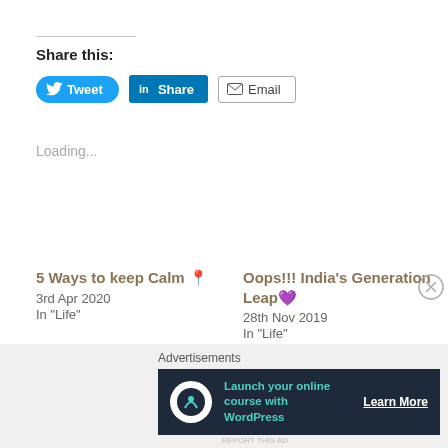Share this:
Tweet | Share | Email
Loading...
5 Ways to keep Calm 📍
3rd Apr 2020
In "Life"
Oops!!! India's Generation Leap 💜
28th Nov 2019
In "Life"
Hold On And Stay Positive
22nd Aug 2020
In "Life"
Advertisements
[Figure (infographic): Dark banner ad: Launch your online course with WordPress - Learn More]